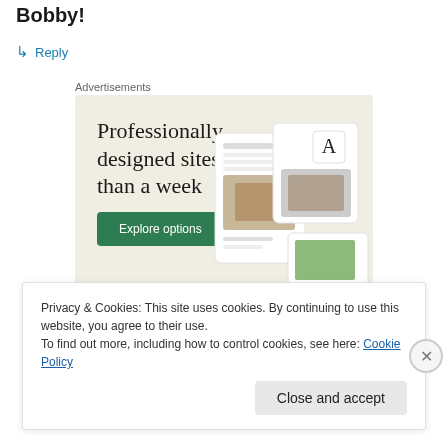Bobby!
↳ Reply
Advertisements
[Figure (screenshot): Advertisement banner with beige background showing 'Professionally designed sites in less than a week' with a green 'Explore options' button and mockup website screenshots on the right.]
Privacy & Cookies: This site uses cookies. By continuing to use this website, you agree to their use.
To find out more, including how to control cookies, see here: Cookie Policy
Close and accept